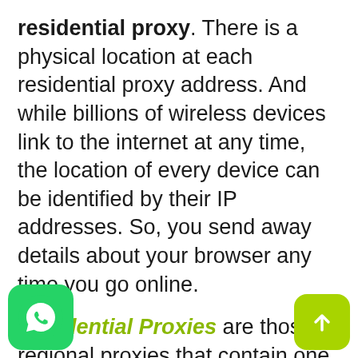residential proxy. There is a physical location at each residential proxy address. And while billions of wireless devices link to the internet at any time, the location of every device can be identified by their IP addresses. So, you send away details about your browser any time you go online.
Residential Proxies are those regional proxies that contain one or more unique IP addresses, provisioned by a regional service provider. Residential proxies will give you a more genuine-looking identity as your IP address appears similar to that of a normal residential user. People generally buy the best residential proxies to use an alternate IP address which is allowed to access different web pages in different locations which are restricted by regional access restrictions. With residential proxies, you can use any geo-based restricted website from anywhere in the world without